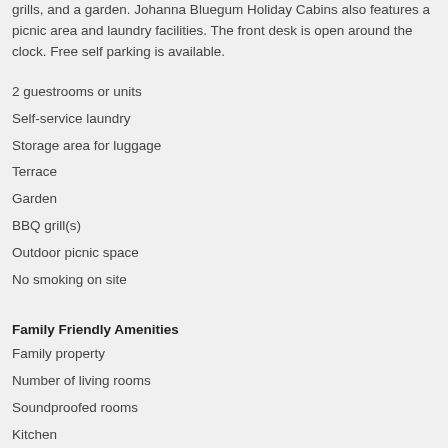grills, and a garden. Johanna Bluegum Holiday Cabins also features a picnic area and laundry facilities. The front desk is open around the clock. Free self parking is available.
2 guestrooms or units
Self-service laundry
Storage area for luggage
Terrace
Garden
BBQ grill(s)
Outdoor picnic space
No smoking on site
Family Friendly Amenities
Family property
Number of living rooms
Soundproofed rooms
Kitchen
Laundry facilities
Separate dining area